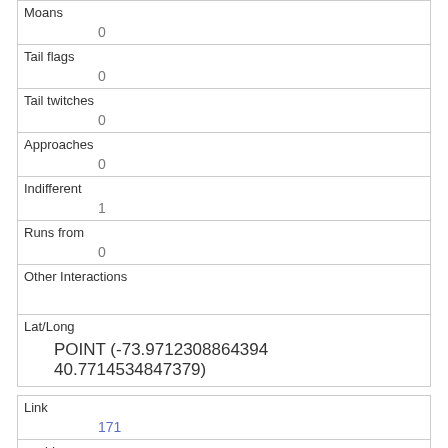| Moans | 0 |
| Tail flags | 0 |
| Tail twitches | 0 |
| Approaches | 0 |
| Indifferent | 1 |
| Runs from | 0 |
| Other Interactions |  |
| Lat/Long | POINT (-73.9712308864394 40.7714534847379) |
| Link | 171 |
| rowid | 171 |